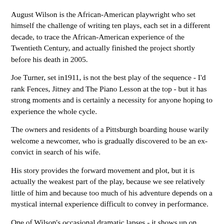August Wilson is the African-American playwright who set himself the challenge of writing ten plays, each set in a different decade, to trace the African-American experience of the Twentieth Century, and actually finished the project shortly before his death in 2005.
Joe Turner, set in1911, is not the best play of the sequence - I'd rank Fences, Jitney and The Piano Lesson at the top - but it has strong moments and is certainly a necessity for anyone hoping to experience the whole cycle.
The owners and residents of a Pittsburgh boarding house warily welcome a newcomer, who is gradually discovered to be an ex-convict in search of his wife.
His story provides the forward movement and plot, but it is actually the weakest part of the play, because we see relatively little of him and because too much of his adventure depends on a mystical internal experience difficult to convey in performance.
One of Wilson's occasional dramatic lapses - it shows up on Gem Of The Ocean and The Piano Lesson as well - was a tendency to rely on magical moments he could explain fully in a stage direction but virtually defy actors and directors to convey in performance.